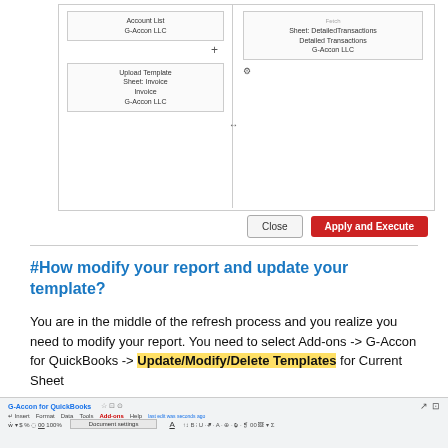[Figure (screenshot): UI dialog showing two panels: left panel with 'Account List / G-Accon LLC' card and 'Upload Template / Sheet: Invoice / Invoice / G-Accon LLC' card; right panel with 'Sheet: DetailedTransactions / Detailed Transactions / G-Accon LLC' card. Close and Apply and Execute buttons at bottom right.]
#How modify your report and update your template?
You are in the middle of the refresh process and you realize you need to modify your report. You need to select Add-ons -> G-Accon for QuickBooks -> Update/Modify/Delete Templates for Current Sheet
[Figure (screenshot): Google Sheets toolbar screenshot showing menu bar with G-Accon for QuickBooks add-on menu open, Insert, Format, Data, Tools, Add-ons, Help menus visible, along with spreadsheet toolbar icons.]